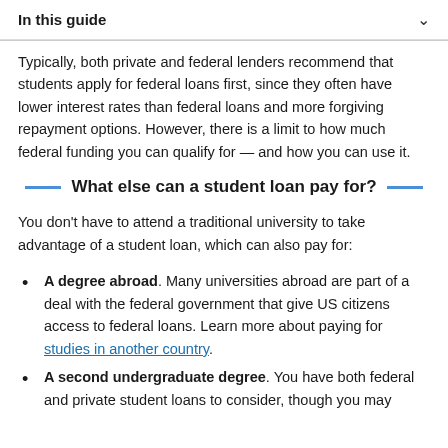In this guide
Typically, both private and federal lenders recommend that students apply for federal loans first, since they often have lower interest rates than federal loans and more forgiving repayment options. However, there is a limit to how much federal funding you can qualify for — and how you can use it.
What else can a student loan pay for?
You don't have to attend a traditional university to take advantage of a student loan, which can also pay for:
A degree abroad. Many universities abroad are part of a deal with the federal government that give US citizens access to federal loans. Learn more about paying for studies in another country.
A second undergraduate degree. You have both federal and private student loans to consider, though you may